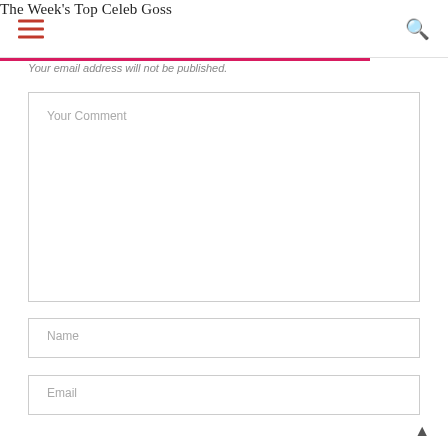The Week's Top Celeb Goss
Your email address will not be published.
Your Comment
Name
Email